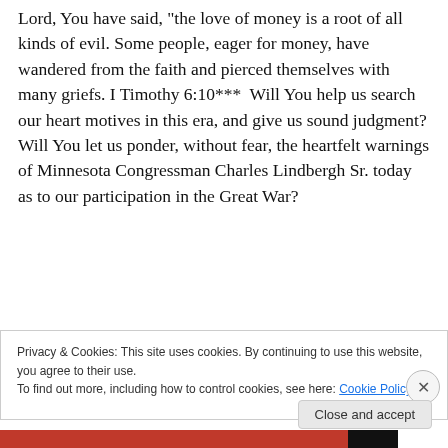Lord, You have said, "the love of money is a root of all kinds of evil. Some people, eager for money, have wandered from the faith and pierced themselves with many griefs. I Timothy 6:10***  Will You help us search our heart motives in this era, and give us sound judgment? Will You let us ponder, without fear, the heartfelt warnings of Minnesota Congressman Charles Lindbergh Sr. today as to our participation in the Great War?
[Figure (infographic): Advertisement banner with bold text 'and a better world.' an Apply button and a circular photo of a person]
Privacy & Cookies: This site uses cookies. By continuing to use this website, you agree to their use.
To find out more, including how to control cookies, see here: Cookie Policy
Close and accept